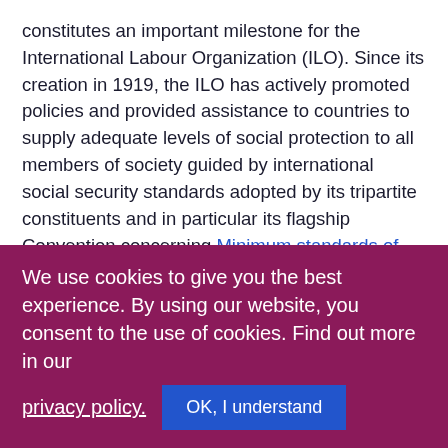constitutes an important milestone for the International Labour Organization (ILO). Since its creation in 1919, the ILO has actively promoted policies and provided assistance to countries to supply adequate levels of social protection to all members of society guided by international social security standards adopted by its tripartite constituents and in particular its flagship Convention concerning Minimum standards of social security, 1952 (No. 102) ⊡ .
Today many CIS countries are further reviewing their social security systems in order to make them more financially viable and sustainable in the current socio-economic contexts. The inherited Soviet social security
We use cookies to give you the best experience. By using our website, you consent to the use of cookies. Find out more in our privacy policy.